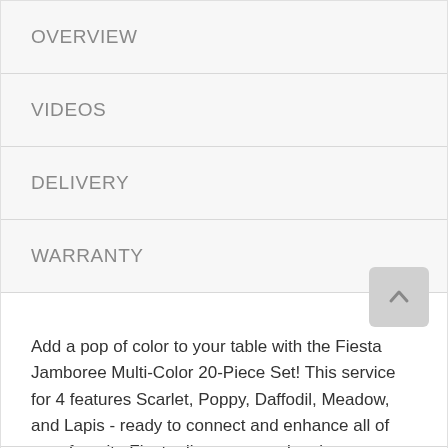OVERVIEW
VIDEOS
DELIVERY
WARRANTY
Add a pop of color to your table with the Fiesta Jamboree Multi-Color 20-Piece Set! This service for 4 features Scarlet, Poppy, Daffodil, Meadow, and Lapis - ready to connect and enhance all of your favorite Fiesta dinnerware colors in new ways. This set is perfect for collectors and fans of Fiestaware and is constructed from 18/0 stainless steel and ABS plastic.